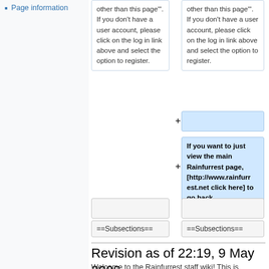Page information
other than this page"'.  If you don't have a user account, please click on the log in link above and select the option to register.
other than this page"'.  If you don't have a user account, please click on the log in link above and select the option to register.
If you want to just view the main Rainfurrest page, [http://www.rainfurrest.net click here] to go back.
==Subsections==
==Subsections==
Revision as of 22:19, 9 May 2008
Welcome to the Rainfurrest staff wiki! This is